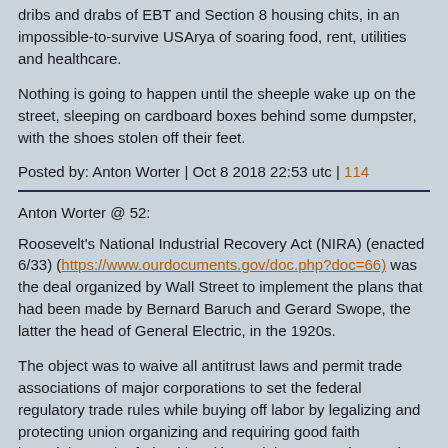dribs and drabs of EBT and Section 8 housing chits, in an impossible-to-survive USArya of soaring food, rent, utilities and healthcare.
Nothing is going to happen until the sheeple wake up on the street, sleeping on cardboard boxes behind some dumpster, with the shoes stolen off their feet.
Posted by: Anton Worter | Oct 8 2018 22:53 utc | 114
Anton Worter @ 52:
Roosevelt's National Industrial Recovery Act (NIRA) (enacted 6/33) (https://www.ourdocuments.gov/doc.php?doc=66) was the deal organized by Wall Street to implement the plans that had been made by Bernard Baruch and Gerard Swope, the latter the head of General Electric, in the 1920s.
The object was to waive all antitrust laws and permit trade associations of major corporations to set the federal regulatory trade rules while buying off labor by legalizing and protecting union organizing and requiring good faith bargaining under federal law (these rights were reinstated after the National Industrial Recovery Act was declared unconstitutional in May 1935 by the Supreme Court with the passage of the National Labor Relations Act, aka the Wagner Act (enacted in 7/35).